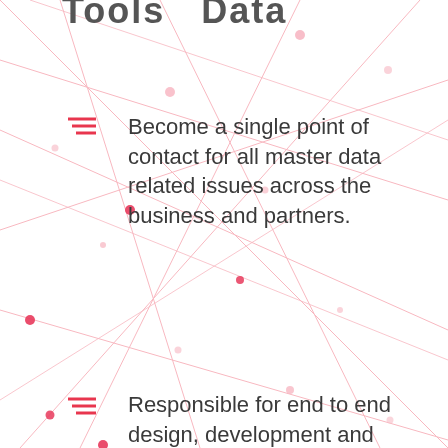Tools   Data
Become a single point of contact for all master data related issues across the business and partners.
Responsible for end to end design, development and delivery of the Database or Data warehouse with hands on experience in Alteryx, Snowflake, and similar applications.
You will be responsible for building scalable customized solutions for